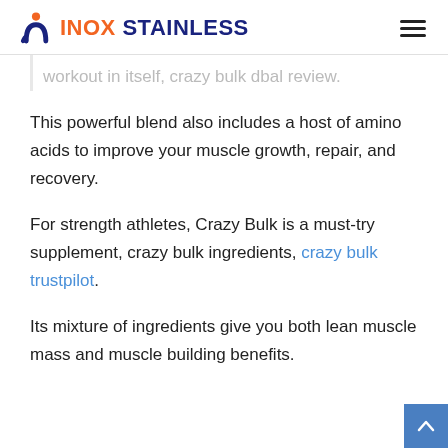INOX STAINLESS
workout in itself, crazy bulk dbal review.
This powerful blend also includes a host of amino acids to improve your muscle growth, repair, and recovery.
For strength athletes, Crazy Bulk is a must-try supplement, crazy bulk ingredients, crazy bulk trustpilot.
Its mixture of ingredients give you both lean muscle mass and muscle building benefits.